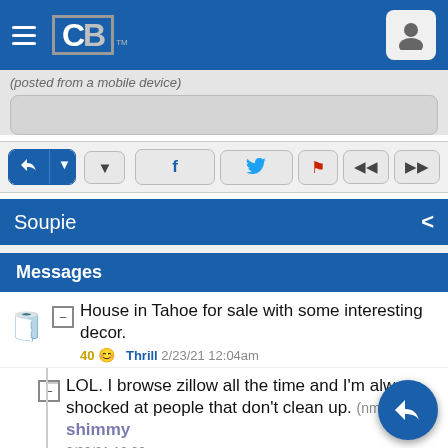CB (CowboyBebop/ComicBook site navigation bar)
(posted from a mobile device)
Reply, dropdown, download, Facebook, Twitter, Flag, prev, next action buttons
Soupie
Messages
House in Tahoe for sale with some interesting decor.
40 Thrill 2/23/21 12:04am
LOL. I browse zillow all the time and I'm always shocked at people that don't clean up. (nm) shimmy
2/23/21 12:06am
Did you get all the way through because the dirty laundry was the least of it. (short) YSMACK
2/23/21 12:29am
Yeah, I didn't want to spoil the surprise for others, but I saw the interesting items. Filthy house still